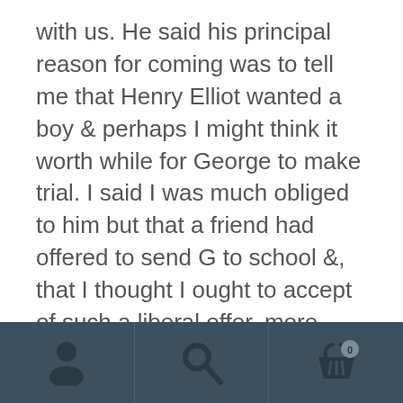with us. He said his principal reason for coming was to tell me that Henry Elliot wanted a boy & perhaps I might think it worth while for George to make trial. I said I was much obliged to him but that a friend had offered to send G to school &, that I thought I ought to accept of such a liberal offer, more especially as George required much more education & instruction in everything, & that he was altogether too young, however I could think of it. & so I did think of it & went down to Dr Officer this morning who feels that George requires to go to school now more than at any period & so it was settled for him to go next week when the school
[Figure (other): App navigation footer bar with three icons: user/profile icon on the left, search/magnifying glass icon in the center, and a shopping basket/cart icon with a badge on the right, on a dark teal background.]